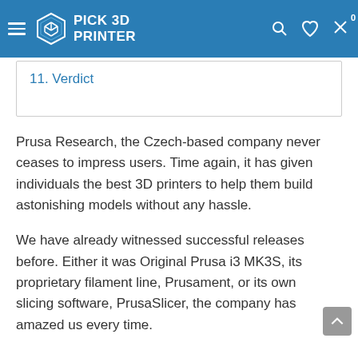PICK 3D PRINTER
11. Verdict
Prusa Research, the Czech-based company never ceases to impress users. Time again, it has given individuals the best 3D printers to help them build astonishing models without any hassle.
We have already witnessed successful releases before. Either it was Original Prusa i3 MK3S, its proprietary filament line, Prusament, or its own slicing software, PrusaSlicer, the company has amazed us every time.